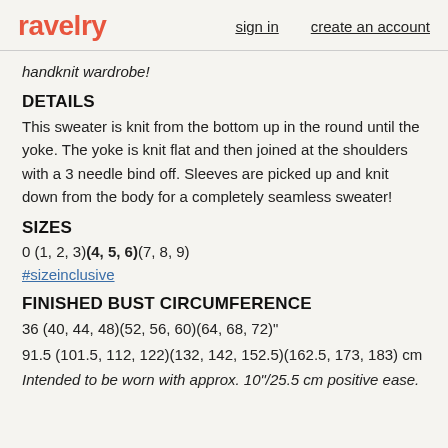ravelry   sign in   create an account
handknit wardrobe!
DETAILS
This sweater is knit from the bottom up in the round until the yoke. The yoke is knit flat and then joined at the shoulders with a 3 needle bind off. Sleeves are picked up and knit down from the body for a completely seamless sweater!
SIZES
0 (1, 2, 3)(4, 5, 6)(7, 8, 9)
#sizeinclusive
FINISHED BUST CIRCUMFERENCE
36 (40, 44, 48)(52, 56, 60)(64, 68, 72)"
91.5 (101.5, 112, 122)(132, 142, 152.5)(162.5, 173, 183) cm
Intended to be worn with approx. 10"/25.5 cm positive ease.